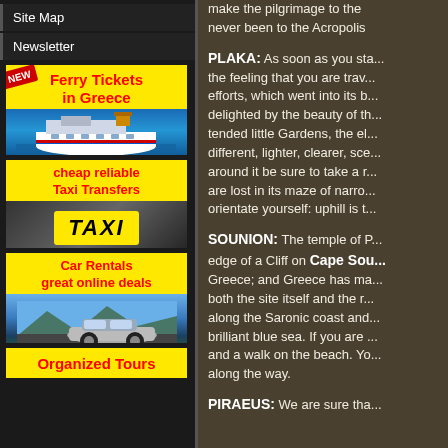Site Map
Newsletter
[Figure (illustration): Ferry Tickets in Greece - advertisement banner with NEW badge, showing a ferry boat on blue water]
[Figure (illustration): Cheap reliable Taxi Transfers - advertisement banner showing a yellow taxi sign]
[Figure (illustration): Car Rentals great online deals - advertisement banner showing a car on scenic road]
[Figure (illustration): Organized Tours - advertisement banner]
make the pilgrimage to the ... never been to the Acropolis
PLAKA: As soon as you sta... the feeling that you are trav... efforts, which went into its b... delighted by the beauty of th... tended little Gardens, the el... different, lighter, clearer, sce... around it be sure to take a r... are lost in its maze of narro... orientate yourself: uphill is t...
SOUNION: The temple of P... edge of a Cliff on Cape Sou... Greece; and Greece has ma... both the site itself and the r... along the Saronic coast and... brilliant blue sea. If you are ... and a walk on the beach. Yo... along the way.
PIRAEUS: We are sure tha...